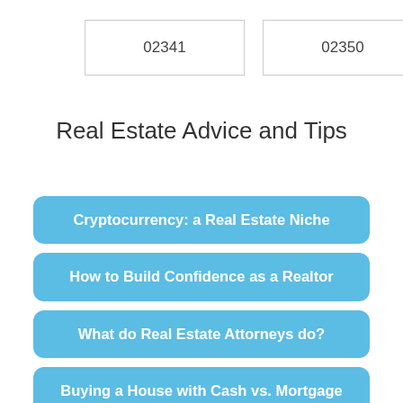02341
02350
Real Estate Advice and Tips
Cryptocurrency: a Real Estate Niche
How to Build Confidence as a Realtor
What do Real Estate Attorneys do?
Buying a House with Cash vs. Mortgage
How Does The Home Loan Underwriting Process Work?